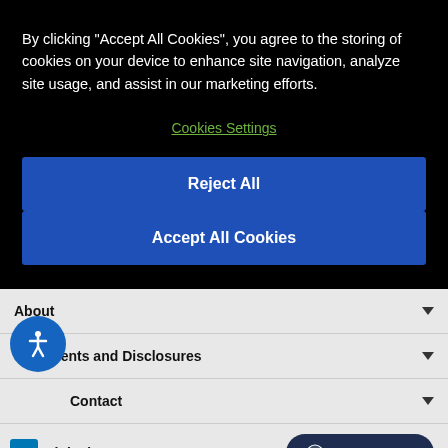By clicking “Accept All Cookies”, you agree to the storing of cookies on your device to enhance site navigation, analyze site usage, and assist in our marketing efforts.
Cookies Settings
Reject All
Accept All Cookies
About
Statements and Disclosures
Contact
LinkedIn
Agent Offline